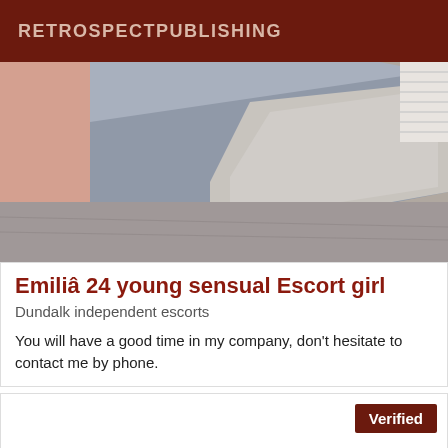RETROSPECTPUBLISHING
[Figure (photo): A close-up photo showing a person's arm/shoulder area in the foreground on the left side (peach/skin tone), with a grey mattress or cushion being rolled or unfolded on a grey floor, and a white-framed mirror or furniture piece visible in the right background.]
Emiliâ 24 young sensual Escort girl
Dundalk independent escorts
You will have a good time in my company, don't hesitate to contact me by phone.
Verified